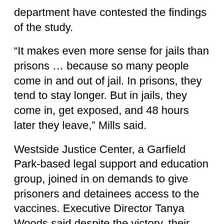department have contested the findings of the study.
“It makes even more sense for jails than prisons … because so many people come in and out of jail. In prisons, they tend to stay longer. But in jails, they come in, get exposed, and 48 hours later they leave,” Mills said.
Westside Justice Center, a Garfield Park-based legal support and education group, joined in on demands to give prisoners and detainees access to the vaccines. Executive Director Tanya Woods said despite the victory, their work isn’t done.
“We’re still waiting to see how this will be rolled out,” Woods said.